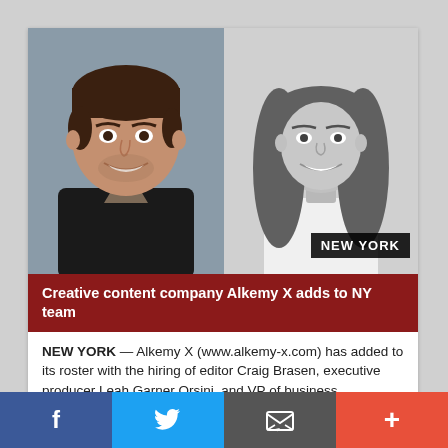[Figure (photo): Two portrait photos side by side: left is a color photo of a smiling man (Craig Brasen), right is a black-and-white photo of a smiling woman. A black badge reads 'NEW YORK' in the lower-right corner.]
Creative content company Alkemy X adds to NY team
NEW YORK — Alkemy X (www.alkemy-x.com) has added to its roster with the hiring of editor Craig Brasen, executive producer Leah Garner Orsini, and VP of business development Sara Iversen. Brasen comes ...
January 25, 2016